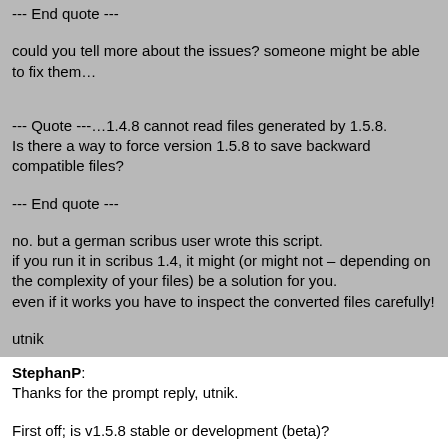--- End quote ---
could you tell more about the issues? someone might be able to fix them…
--- Quote ---…1.4.8 cannot read files generated by 1.5.8.
Is there a way to force version 1.5.8 to save backward compatible files?
--- End quote ---
no. but a german scribus user wrote this script.
if you run it in scribus 1.4, it might (or might not – depending on the complexity of your files) be a solution for you.
even if it works you have to inspect the converted files carefully!
utnik
StephanP:
Thanks for the prompt reply, utnik.
First off; is v1.5.8 stable or development (beta)?
I am (frantically) switching from MS Publisher because of its horrific sluggyness. I do not want to move that image frame to